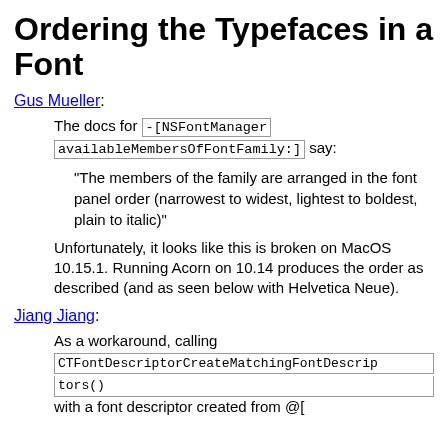Ordering the Typefaces in a Font
Gus Mueller:
The docs for -[NSFontManager availableMembersOfFontFamily:] say:
“The members of the family are arranged in the font panel order (narrowest to widest, lightest to boldest, plain to italic)”
Unfortunately, it looks like this is broken on MacOS 10.15.1. Running Acorn on 10.14 produces the order as described (and as seen below with Helvetica Neue).
Jiang Jiang:
As a workaround, calling CTFontDescriptorCreateMatchingFontDescriptors() with a font descriptor created from @[